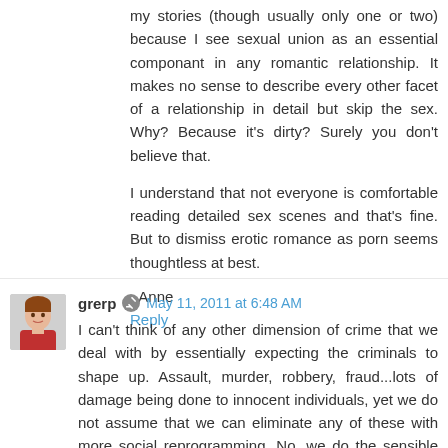my stories (though usually only one or two) because I see sexual union as an essential componant in any romantic relationship. It makes no sense to describe every other facet of a relationship in detail but skip the sex. Why? Because it's dirty? Surely you don't believe that.
I understand that not everyone is comfortable reading detailed sex scenes and that's fine. But to dismiss erotic romance as porn seems thoughtless at best.
- Anne
Reply
grerp  May 11, 2011 at 6:48 AM
I can't think of any other dimension of crime that we deal with by essentially expecting the criminals to shape up. Assault, murder, robbery, fraud...lots of damage being done to innocent individuals, yet we do not assume that we can eliminate any of these with more social reprogramming. No, we do the sensible thing - assume criminals exists, ask